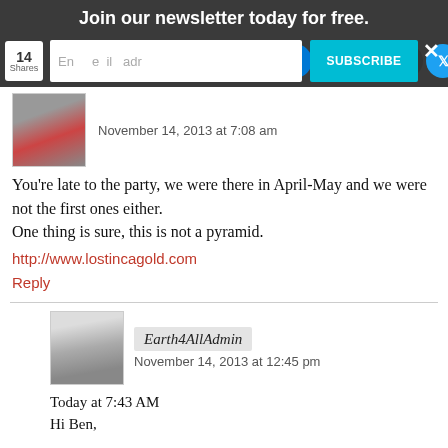Join our newsletter today for free.
[Figure (screenshot): Social sharing icon bar with share count 14, email input, subscribe button, close X, and social icons including Facebook, Tumblr, heart, Gmail, Flipboard, Microsoft, Blogger, Digg, Layers, Twitter, Crown]
November 14, 2013 at 7:08 am
You're late to the party, we were there in April-May and we were not the first ones either.
One thing is sure, this is not a pyramid.
http://www.lostincagold.com
Reply
Earth4AllAdmin
November 14, 2013 at 12:45 pm
Today at 7:43 AM
Hi Ben,

Thank you for the message, I have been on your